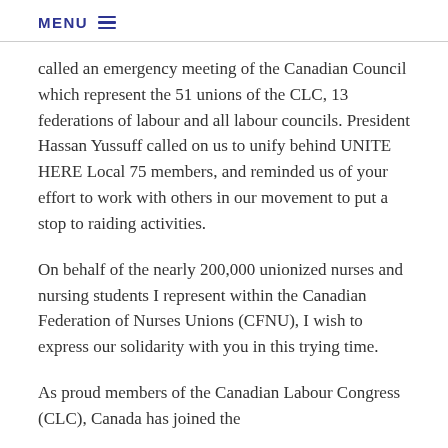MENU
called an emergency meeting of the Canadian Council which represent the 51 unions of the CLC, 13 federations of labour and all labour councils. President Hassan Yussuff called on us to unify behind UNITE HERE Local 75 members, and reminded us of your effort to work with others in our movement to put a stop to raiding activities.
On behalf of the nearly 200,000 unionized nurses and nursing students I represent within the Canadian Federation of Nurses Unions (CFNU), I wish to express our solidarity with you in this trying time.
As proud members of the Canadian Labour Congress (CLC), Canada has joined the...